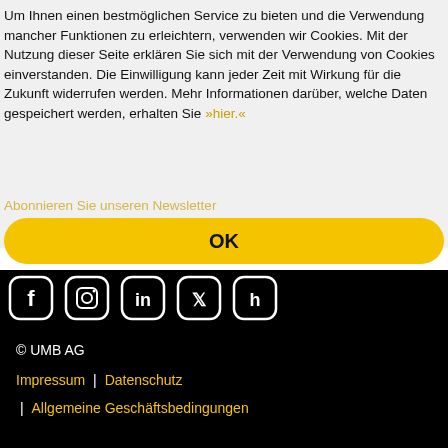Um Ihnen einen bestmöglichen Service zu bieten und die Verwendung mancher Funktionen zu erleichtern, verwenden wir Cookies. Mit der Nutzung dieser Seite erklären Sie sich mit der Verwendung von Cookies einverstanden. Die Einwilligung kann jeder Zeit mit Wirkung für die Zukunft widerrufen werden. Mehr Informationen darüber, welche Daten gespeichert werden, erhalten Sie »hier.«
Abonnieren Sie unseren Newsletter
OK
[Figure (other): Social media icons: Facebook, Instagram, LinkedIn, Xing, Houzz — white outlined rounded square icons on black background]
© UMB AG
Impressum | Datenschutz | Allgemeine Geschäftsbedingungen